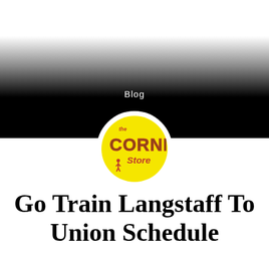[Figure (logo): Gradient banner header with white to black gradient, containing 'Blog' text in white and a circular logo for 'The Corner Store' in yellow with red and brown lettering]
Blog
Go Train Langstaff To Union Schedule